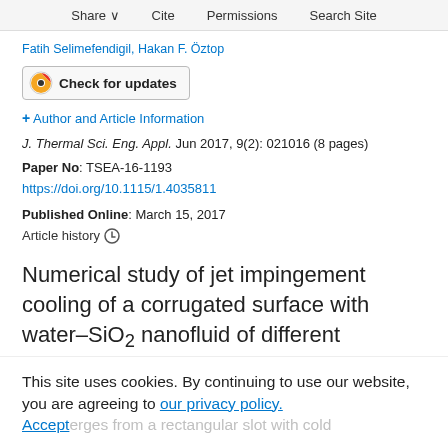Share  Cite  Permissions  Search Site
Fatih Selimefendigil, Hakan F. Öztop
[Figure (other): Check for updates button with CrossMark logo]
+ Author and Article Information
J. Thermal Sci. Eng. Appl. Jun 2017, 9(2): 021016 (8 pages)
Paper No: TSEA-16-1193
https://doi.org/10.1115/1.4035811
Published Online: March 15, 2017
Article history
Numerical study of jet impingement cooling of a corrugated surface with water–SiO2 nanofluid of different nanoparticle shapes was performed.
The bottom wall is corrugated and kept at
This site uses cookies. By continuing to use our website, you are agreeing to our privacy policy. Accept
erges from a rectangular slot with cold uniform temperature. The nozzle-to-plate